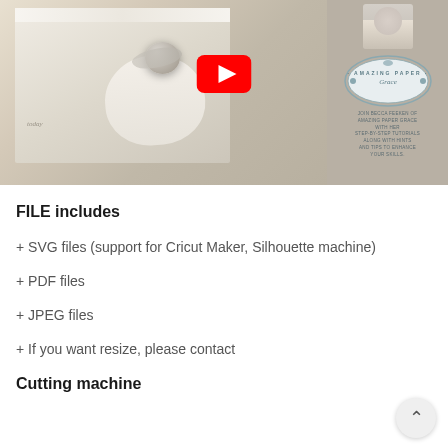[Figure (screenshot): YouTube video thumbnail showing a paper craft box with white lace details, white bow with crystal/gem embellishment, and the Amazing Paper Grace branding logo on the right side with a portrait photo of a woman. A red YouTube play button overlay is centered on the left portion of the image.]
FILE includes
+ SVG files (support for Cricut Maker, Silhouette machine)
+ PDF files
+ JPEG files
+ If you want resize, please contact
Cutting machine